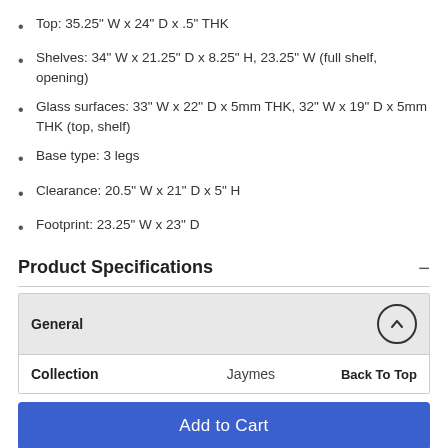Top: 35.25" W x 24" D x .5" THK
Shelves: 34" W x 21.25" D x 8.25" H, 23.25" W (full shelf, opening)
Glass surfaces: 33" W x 22" D x 5mm THK, 32" W x 19" D x 5mm THK (top, shelf)
Base type: 3 legs
Clearance: 20.5" W x 21" D x 5" H
Footprint: 23.25" W x 23" D
Product Specifications
| General |  |  |
| --- | --- | --- |
| Collection | Jaymes | Back To Top |
Add to Cart